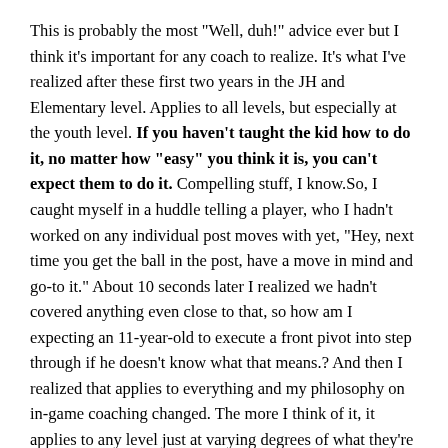This is probably the most "Well, duh!" advice ever but I think it's important for any coach to realize. It's what I've realized after these first two years in the JH and Elementary level. Applies to all levels, but especially at the youth level. If you haven't taught the kid how to do it, no matter how "easy" you think it is, you can't expect them to do it. Compelling stuff, I know.So, I caught myself in a huddle telling a player, who I hadn't worked on any individual post moves with yet, "Hey, next time you get the ball in the post, have a move in mind and go-to it." About 10 seconds later I realized we hadn't covered anything even close to that, so how am I expecting an 11-year-old to execute a front pivot into step through if he doesn't know what that means.? And then I realized that applies to everything and my philosophy on in-game coaching changed. The more I think of it, it applies to any level just at varying degrees of what they're doing. Now I like to ask a player if they have a go-to move or if they even know what that means, start a conversation that way, and then get into showing them these pivots and counters.
I think highlighting my summer gym rats is a good way to introduce it. Now I just need to adjust to keeping a gym with 20-30 players engaged compared to 4-5 we had this summer. That's what